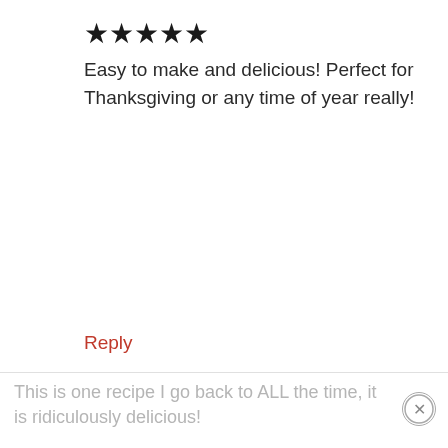[Figure (other): Five filled black stars rating]
Easy to make and delicious! Perfect for Thanksgiving or any time of year really!
Reply
Shelley
1,109
March 7, 2021 at 1:23 pm
[Figure (other): Five filled black stars rating]
This is one recipe I go back to ALL the time, it is ridiculously delicious!